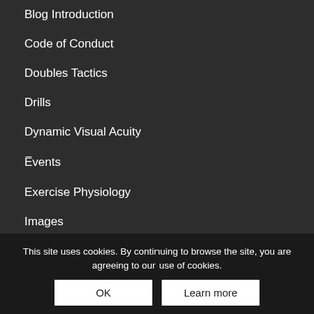Blog Introduction
Code of Conduct
Doubles Tactics
Drills
Dynamic Visual Acuity
Events
Exercise Physiology
Images
Line Calls: Eye Biomechanics
Match Analysis
News
Nutrition
Published Articles
Sports Psychology
Take Home Ta...
Tennis Biomechanics
This site uses cookies. By continuing to browse the site, you are agreeing to our use of cookies.
OK
Learn more